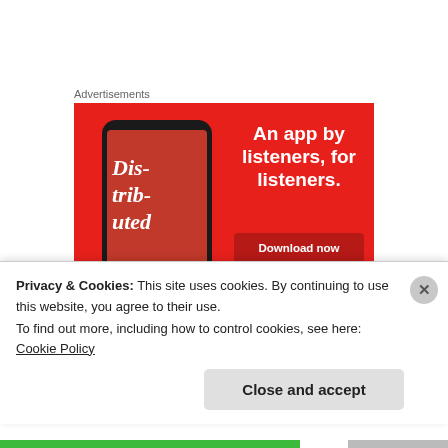Advertisements
[Figure (illustration): Advertisement banner for a podcast app on red background. Shows a smartphone with 'Dis-trib-uted' podcast cover. Text reads 'An app by listeners, for listeners.' with a 'Download now' button.]
Then I'm going to try to finish up Guards! Guards!
Privacy & Cookies: This site uses cookies. By continuing to use this website, you agree to their use.
To find out more, including how to control cookies, see here: Cookie Policy
Close and accept